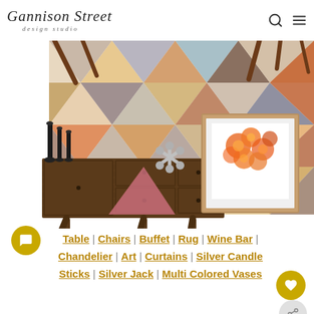Gannison Street design studio
[Figure (illustration): Mid-century modern interior design mood board showing a walnut buffet/sideboard with black candle sticks, a silver jack sculpture, a framed orange floral art print, and a colorful geometric patterned area rug in the background with chair legs visible.]
Table | Chairs | Buffet | Rug | Wine Bar | Chandelier | Art | Curtains | Silver Candle Sticks | Silver Jack | Multi Colored Vases